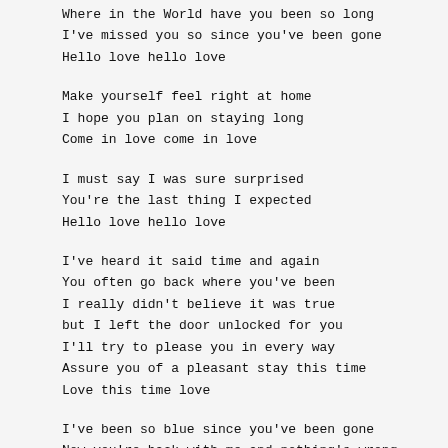Where in the World have you been so long
I've missed you so since you've been gone
Hello love hello love
Make yourself feel right at home
I hope you plan on staying long
Come in love come in love
I must say I was sure surprised
You're the last thing I expected
Hello love hello love
I've heard it said time and again
You often go back where you've been
I really didn't believe it was true
but I left the door unlocked for you
I'll try to please you in every way
Assure you of a pleasant stay this time
Love this time love
I've been so blue since you've been gone
Now you're back with me and nothing's wrong
Hello love hello love